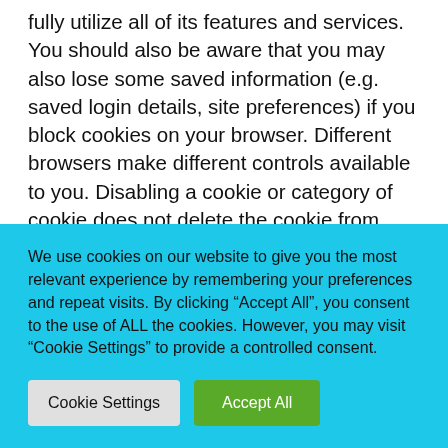fully utilize all of its features and services. You should also be aware that you may also lose some saved information (e.g. saved login details, site preferences) if you block cookies on your browser. Different browsers make different controls available to you. Disabling a cookie or category of cookie does not delete the cookie from your browser, you will need to do this yourself from within your browser, you should
We use cookies on our website to give you the most relevant experience by remembering your preferences and repeat visits. By clicking “Accept All”, you consent to the use of ALL the cookies. However, you may visit "Cookie Settings" to provide a controlled consent.
Cookie Settings
Accept All